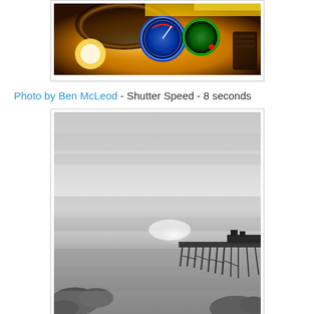[Figure (photo): Car dashboard interior at night with illuminated gauges/speedometer in blue, red, green neon colors against warm golden/orange ambient light]
Photo by Ben McLeod - Shutter Speed - 8 seconds
[Figure (photo): Long exposure black and white photograph of a pier/jetty extending into calm water with misty sea, rocks in foreground, and overcast sky at dusk or dawn]